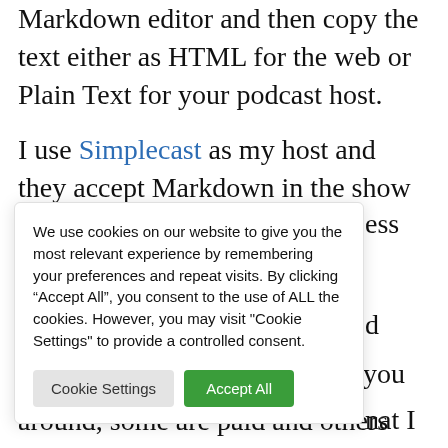Markdown editor and then copy the text either as HTML for the web or Plain Text for your podcast host.
I use Simplecast as my host and they accept Markdown in the show notes editor.
We use cookies on our website to give you the most relevant experience by remembering your preferences and repeat visits. By clicking “Accept All”, you consent to the use of ALL the cookies. However, you may visit "Cookie Settings" to provide a controlled consent.
Cookie Settings | Accept All
around, some are paid and others